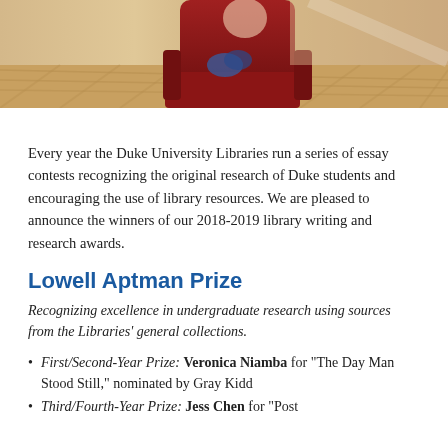[Figure (photo): Photo of a library interior with a red armchair and wooden herringbone floor]
Every year the Duke University Libraries run a series of essay contests recognizing the original research of Duke students and encouraging the use of library resources. We are pleased to announce the winners of our 2018-2019 library writing and research awards.
Lowell Aptman Prize
Recognizing excellence in undergraduate research using sources from the Libraries' general collections.
First/Second-Year Prize: Veronica Niamba for “The Day Man Stood Still,” nominated by Gray Kidd
Third/Fourth-Year Prize: Jess Chen for “Post...